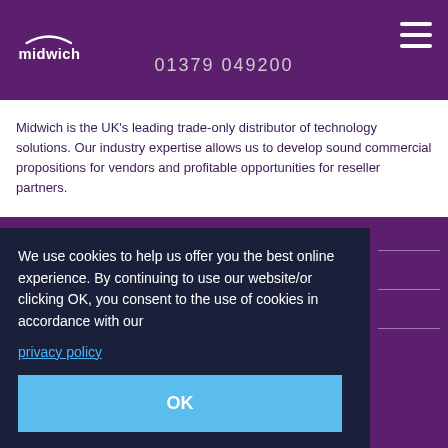[Figure (logo): Midwich logo - white text on purple background with arc above]
01379 649200
Midwich is the UK's leading trade-only distributor of technology solutions. Our industry expertise allows us to develop sound commercial propositions for vendors and profitable opportunities for reseller partners.
We use cookies to help us offer you the best online experience. By continuing to use our website/or clicking OK, you consent to the use of cookies in accordance with our
privacy policy
OK
About
Expertise
News & Events